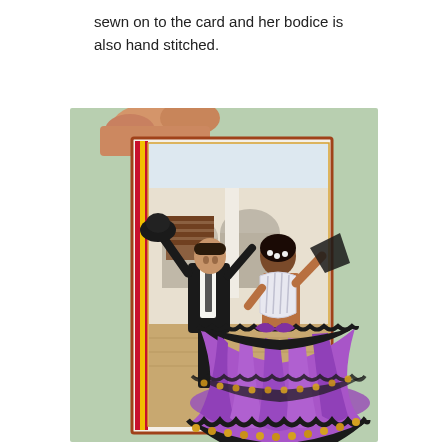sewn on to the card and her bodice is also hand stitched.
[Figure (photo): A hand holding a greeting card featuring a flamenco dancing couple. The woman has a 3D fabric dress with a purple satin skirt and black lace trim sewn onto the card. The man wears a black suit and holds a hat. They are posed in a courtyard scene.]